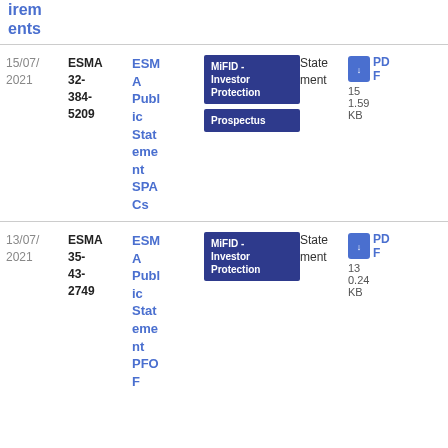irements
| Date | Reference | Title | Tags | Type | File |
| --- | --- | --- | --- | --- | --- |
| 15/07/2021 | ESMA 32-384-5209 | ESMA Public Statement SPACs | MiFID - Investor Protection | Prospectus | Statement | PDF 151.59 KB |
| 13/07/2021 | ESMA 35-43-2749 | ESMA Public Statement PFOF | MiFID - Investor Protection | Statement | PDF 130.24 KB |